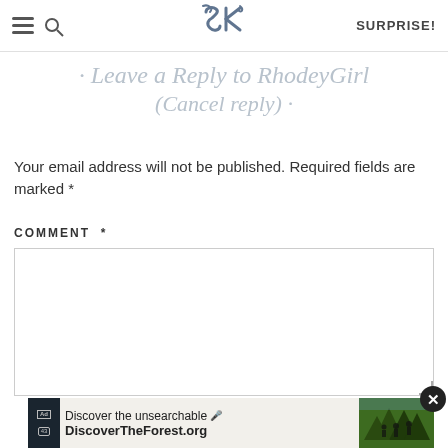SK | SURPRISE!
· Leave a Reply to RhodeyGirl (Cancel reply) ·
Your email address will not be published. Required fields are marked *
COMMENT  *
[Figure (screenshot): Comment text area input box (empty), with an advertisement banner overlay at the bottom showing 'Discover the unsearchable' and 'DiscoverTheForest.org' with a forest image, and a close button (X).]